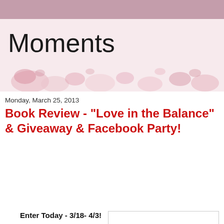Moments
Monday, March 25, 2013
Book Review - "Love in the Balance" & Giveaway & Facebook Party!
[Figure (other): Book cover image placeholder with border]
Enter Today - 3/18- 4/3!
Regina Jennings is celebrating the release of Love in the Balance with a Kindle Fire Giveaway and a Facebook Author Chat Party on 4/4!